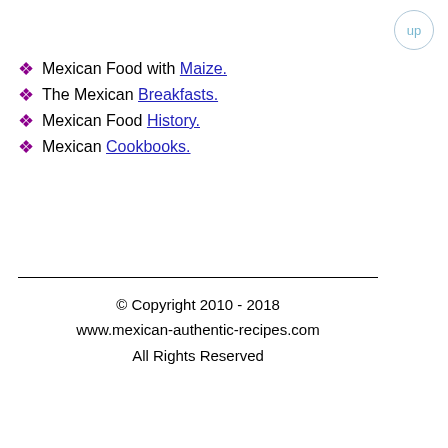❖ Mexican Food with Maize.
❖ The Mexican Breakfasts.
❖ Mexican Food History.
❖ Mexican Cookbooks.
© Copyright 2010 - 2018
www.mexican-authentic-recipes.com
All Rights Reserved